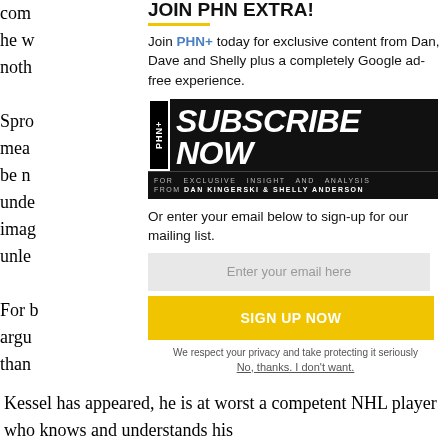com
he w
noth
Spro
mea
be n
unde
imag
unle
For b
argu
than
JOIN PHN EXTRA!
Join PHN+ today for exclusive content from Dan, Dave and Shelly plus a completely Google ad-free experience.
[Figure (infographic): Subscribe Now banner for PHN+ with text: SUBSCRIBE NOW FOR EXCLUSIVE INSIGHT AND ANALYSIS FROM DAN KINGERSKI & SHELLY ANDERSON]
Or enter your email below to sign-up for our mailing list.
Enter your email here
SIGN UP NOW
We respect your privacy and take protecting it seriously
No, thanks. I don't want.
Kessel has appeared, he is at worst a competent NHL player who knows and understands his